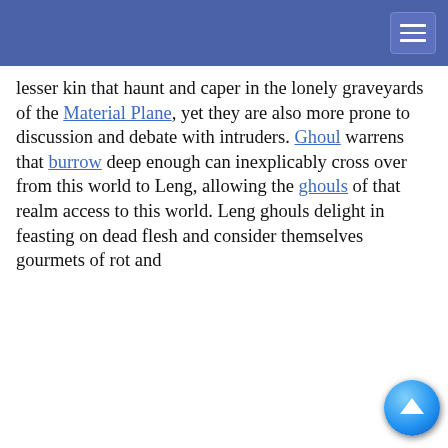[Navigation bar with hamburger menu]
lesser kin that haunt and caper in the lonely graveyards of the Material Plane, yet they are also more prone to discussion and debate with intruders. Ghoul warrens that burrow deep enough can inexplicably cross over from this world to Leng, allowing the ghouls of that realm access to this world. Leng ghouls delight in feasting on dead flesh and consider themselves gourmets of rot and [...]tuous banquet [...] ies and [...] e reaches of [...] ow the surface [...] ese creatures [...] o slaughter [...] ut forbidden [...] their ever- [...] h often rival
This website uses cookies to provide functionality, but which are not used to track your activity. By continuing to use this site, you agree to the use of these cookies.

However, in addition to this, you may opt into your activity being tracked in order to help us improve our service.

For more information, please click here
OK    No, thank you